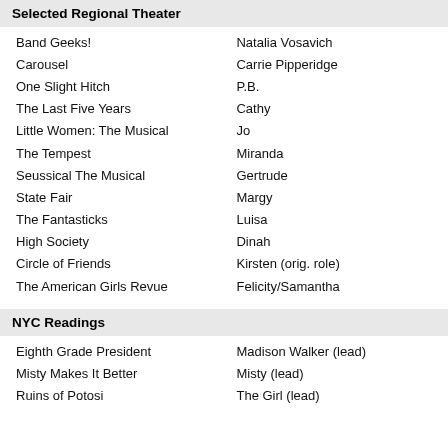Selected Regional Theater
| Band Geeks! | Natalia Vosavich |
| Carousel | Carrie Pipperidge |
| One Slight Hitch | P.B. |
| The Last Five Years | Cathy |
| Little Women: The Musical | Jo |
| The Tempest | Miranda |
| Seussical The Musical | Gertrude |
| State Fair | Margy |
| The Fantasticks | Luisa |
| High Society | Dinah |
| Circle of Friends | Kirsten (orig. role) |
| The American Girls Revue | Felicity/Samantha |
NYC Readings
| Eighth Grade President | Madison Walker (lead) |
| Misty Makes It Better | Misty (lead) |
| Ruins of Potosi | The Girl (lead) |